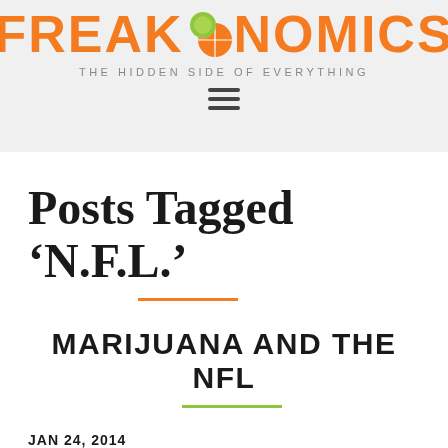FREAKONOMICS — THE HIDDEN SIDE OF EVERYTHING
Posts Tagged ‘N.F.L.’
MARIJUANA AND THE NFL
JAN 24, 2014